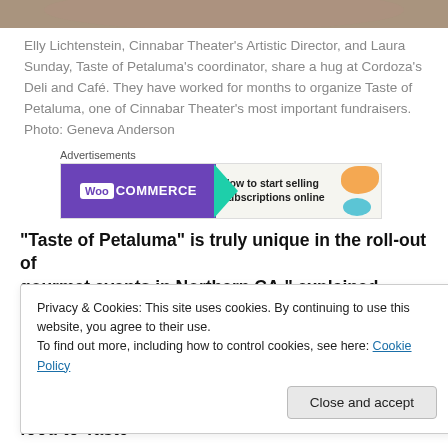[Figure (photo): Partial view of a photo showing two people (Elly Lichtenstein and Laura Sunday) at Cordoza's Deli and Café, cropped to just the top strip]
Elly Lichtenstein, Cinnabar Theater's Artistic Director, and Laura Sunday, Taste of Petaluma's coordinator, share a hug at Cordoza's Deli and Café. They have worked for months to organize Taste of Petaluma, one of Cinnabar Theater's most important fundraisers. Photo: Geneva Anderson
[Figure (screenshot): WooCommerce advertisement banner: 'How to start selling subscriptions online']
“Taste of Petaluma” is truly unique in the roll-out of gourmet events in Northern CA,” explained Laura Sunday
Privacy & Cookies: This site uses cookies. By continuing to use this website, you agree to their use.
To find out more, including how to control cookies, see here: Cookie Policy
All of the purveyors generously donate their food to Taste